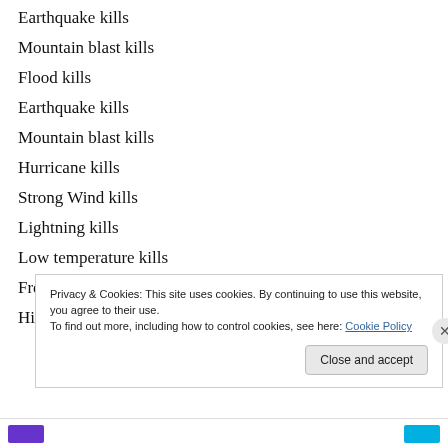Earthquake kills
Mountain blast kills
Flood kills
Earthquake kills
Mountain blast kills
Hurricane kills
Strong Wind kills
Lightning kills
Low temperature kills
Freeze kills
High temperature kills
Privacy & Cookies: This site uses cookies. By continuing to use this website, you agree to their use. To find out more, including how to control cookies, see here: Cookie Policy
Close and accept